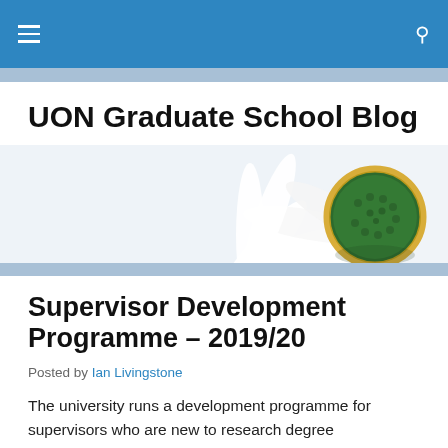UON Graduate School Blog
[Figure (photo): Close-up photograph of a white daisy flower with a green and yellow centre, on a light background.]
Supervisor Development Programme – 2019/20
Posted by Ian Livingstone
The university runs a development programme for supervisors who are new to research degree supervision,